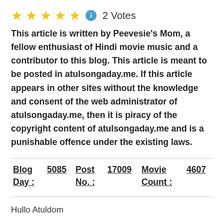[Figure (other): Five gold star rating icons followed by a blue info circle icon and '2 Votes' text]
This article is written by Peevesie's Mom, a fellow enthusiast of Hindi movie music and a contributor to this blog. This article is meant to be posted in atulsongaday.me. If this article appears in other sites without the knowledge and consent of the web administrator of atulsongaday.me, then it is piracy of the copyright content of atulsongaday.me and is a punishable offence under the existing laws.
| Blog Day : | 5085 | Post No. : | 17009 | Movie Count : | 4607 |
Hullo Atuldom